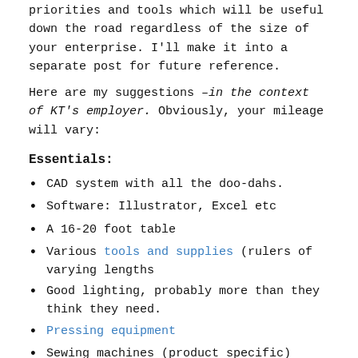priorities and tools which will be useful down the road regardless of the size of your enterprise. I'll make it into a separate post for future reference.
Here are my suggestions – in the context of KT's employer. Obviously, your mileage will vary:
Essentials:
CAD system with all the doo-dahs.
Software: Illustrator, Excel etc
A 16-20 foot table
Various tools and supplies (rulers of varying lengths
Good lighting, probably more than they think they need.
Pressing equipment
Sewing machines (product specific)
Shelving